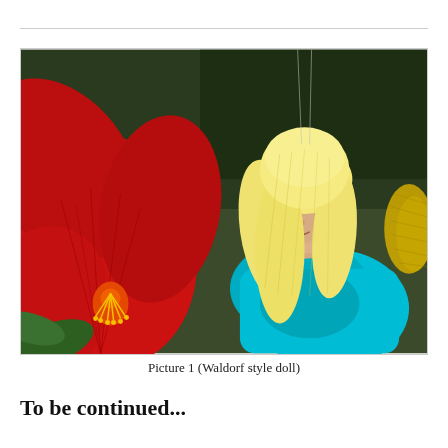[Figure (photo): A Waldorf style doll with long blonde wool hair and a blue dress, posed next to a large red hibiscus flower. The doll has a simple fabric face with small eyes and a gentle expression, and yellow knitted wings are visible on the right side. The background shows green foliage. The doll appears to be hanging by strings.]
Picture 1 (Waldorf style doll)
To be continued...